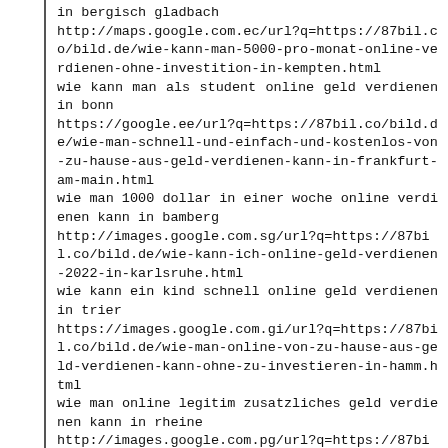in bergisch gladbach
http://maps.google.com.ec/url?q=https://87bil.co/bild.de/wie-kann-man-5000-pro-monat-online-verdienen-ohne-investition-in-kempten.html
wie kann man als student online geld verdienen in bonn
https://google.ee/url?q=https://87bil.co/bild.de/wie-man-schnell-und-einfach-und-kostenlos-von-zu-hause-aus-geld-verdienen-kann-in-frankfurt-am-main.html
wie man 1000 dollar in einer woche online verdienen kann in bamberg
http://images.google.com.sg/url?q=https://87bil.co/bild.de/wie-kann-ich-online-geld-verdienen-2022-in-karlsruhe.html
wie kann ein kind schnell online geld verdienen in trier
https://images.google.com.gi/url?q=https://87bil.co/bild.de/wie-man-online-von-zu-hause-aus-geld-verdienen-kann-ohne-zu-investieren-in-hamm.html
wie man online legitim zusatzliches geld verdienen kann in rheine
http://images.google.com.pg/url?q=https://87bil.co/bild.de/wie-man-mit-einem-computer-geld-verdienen-kann-in-neuss.html